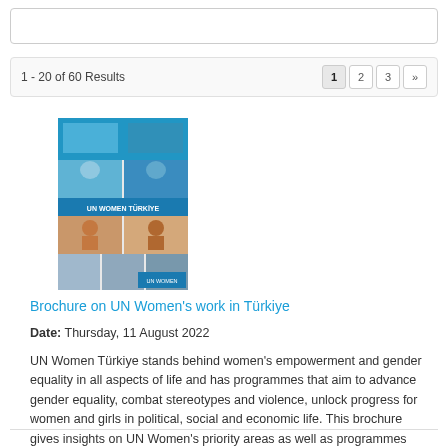1 - 20 of 60 Results
[Figure (screenshot): Thumbnail of UN Women Türkiye brochure cover showing a collage of photos of women]
Brochure on UN Women's work in Türkiye
Date: Thursday, 11 August 2022
UN Women Türkiye stands behind women's empowerment and gender equality in all aspects of life and has programmes that aim to advance gender equality, combat stereotypes and violence, unlock progress for women and girls in political, social and economic life. This brochure gives insights on UN Women's priority areas as well as programmes and projects, and partnerships in Türkiye.